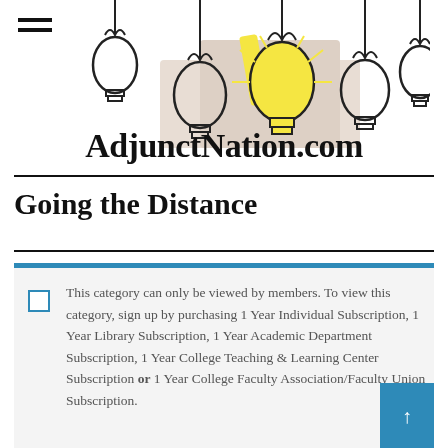[Figure (illustration): Website header image showing a hand drawing light bulbs, with one illuminated yellow bulb among several outline bulbs on a white background]
AdjunctNation.com
Going the Distance
This category can only be viewed by members. To view this category, sign up by purchasing 1 Year Individual Subscription, 1 Year Library Subscription, 1 Year Academic Department Subscription, 1 Year College Teaching & Learning Center Subscription or 1 Year College Faculty Association/Faculty Union Subscription.